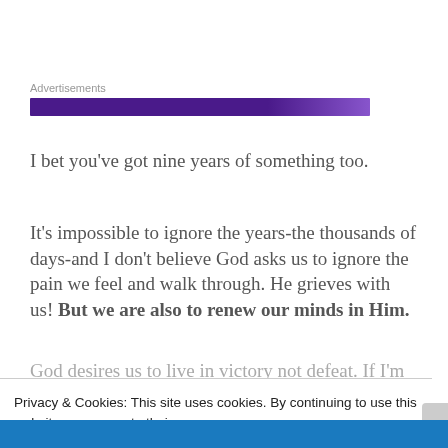[Figure (other): Advertisement banner with purple gradient bar labeled 'Advertisements']
I bet you’ve got nine years of something too.
It’s impossible to ignore the years-the thousands of days-and I don’t believe God asks us to ignore the pain we feel and walk through. He grieves with us! But we are also to renew our minds in Him.
God desires us to live in victory not defeat. If I’m
Privacy & Cookies: This site uses cookies. By continuing to use this website, you agree to their use.
To find out more, including how to control cookies, see here: Cookie Policy
Close and accept